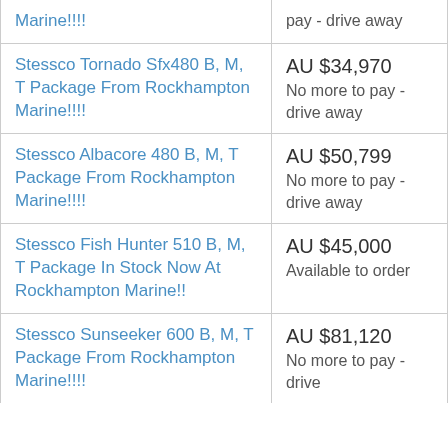| Product | Price |
| --- | --- |
| Marine!!!! | pay - drive away |
| Stessco Tornado Sfx480 B, M, T Package From Rockhampton Marine!!!! | AU $34,970
No more to pay - drive away |
| Stessco Albacore 480 B, M, T Package From Rockhampton Marine!!!! | AU $50,799
No more to pay - drive away |
| Stessco Fish Hunter 510 B, M, T Package In Stock Now At Rockhampton Marine!! | AU $45,000
Available to order |
| Stessco Sunseeker 600 B, M, T Package From Rockhampton Marine!!!! | AU $81,120
No more to pay - drive |